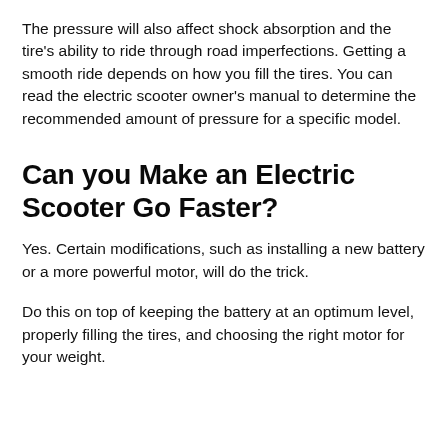The pressure will also affect shock absorption and the tire's ability to ride through road imperfections. Getting a smooth ride depends on how you fill the tires. You can read the electric scooter owner's manual to determine the recommended amount of pressure for a specific model.
Can you Make an Electric Scooter Go Faster?
Yes. Certain modifications, such as installing a new battery or a more powerful motor, will do the trick.
Do this on top of keeping the battery at an optimum level, properly filling the tires, and choosing the right motor for your weight.